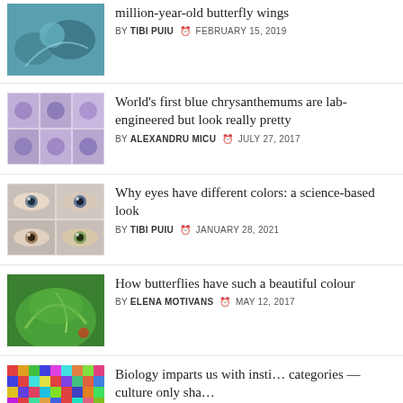million-year-old butterfly wings | BY TIBI PUIU | FEBRUARY 15, 2019
World's first blue chrysanthemums are lab-engineered but look really pretty | BY ALEXANDRU MICU | JULY 27, 2017
Why eyes have different colors: a science-based look | BY TIBI PUIU | JANUARY 28, 2021
How butterflies have such a beautiful colour | BY ELENA MOTIVANS | MAY 12, 2017
Biology imparts us with insti… categories — culture only sha… | BY ALEXANDRU MICU | MAY 9, 2017
A more limited range of color vision might help predators see through camouflage,
[Figure (screenshot): Smartphone icon overlay button]